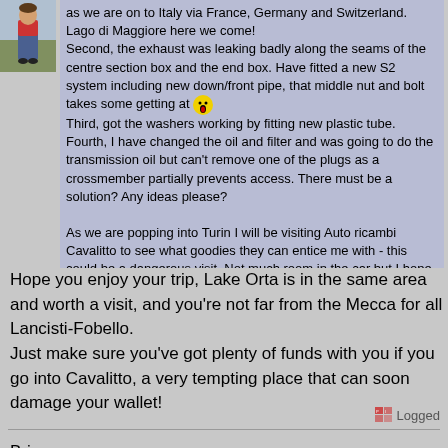[Figure (photo): Small avatar photo of a person wearing jeans and a red top, standing outdoors]
as we are on to Italy via France, Germany and Switzerland. Lago di Maggiore here we come!
Second, the exhaust was leaking badly along the seams of the centre section box and the end box. Have fitted a new S2 system including new down/front pipe, that middle nut and bolt takes some getting at 😮
Third, got the washers working by fitting new plastic tube.
Fourth, I have changed the oil and filter and was going to do the transmission oil but can't remove one of the plugs as a crossmember partially prevents access. There must be a solution? Any ideas please?

As we are popping into Turin I will be visiting Auto ricambi Cavalitto to see what goodies they can entice me with - this could be a dangerous visit. Not much room in the car but I hope to buy a new radio cover with the Fulvia script for the dash.
Hope you enjoy your trip, Lake Orta is in the same area and worth a visit, and you're not far from the Mecca for all Lancisti-Fobello.
Just make sure you've got plenty of funds with you if you go into Cavalitto, a very tempting place that can soon damage your wallet!

Brian
8227 😎
Logged